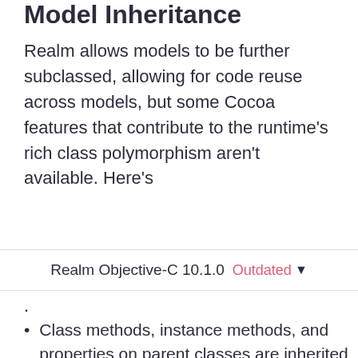Model Inheritance
Realm allows models to be further subclassed, allowing for code reuse across models, but some Cocoa features that contribute to the runtime's rich class polymorphism aren't available. Here's
Realm Objective-C 10.1.0  Outdated ▾
Class methods, instance methods, and properties on parent classes are inherited in their child classes.
This website uses cookies to ensure you get the best experience on our website.
Learn more
Got it!
subclass to subclass, subclass to parent,